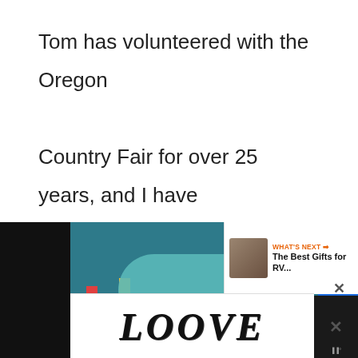Tom has volunteered with the Oregon Country Fair for over 25 years, and I have been volunteering for 4 years. It is a staple of our summer, and we cannot recommend it highly enough if you are looking for a unique, playful, and fun festival experience!
[Figure (screenshot): UI buttons: heart/like button (teal circle with heart icon), count of 1, and share button (light circle with share icon)]
[Figure (screenshot): Bottom section showing an advertisement with illustrated teal/dark background image, LOVE text banner ad with decorative black and white lettering, and a 'What's Next' panel showing The Best Gifts for RV...]